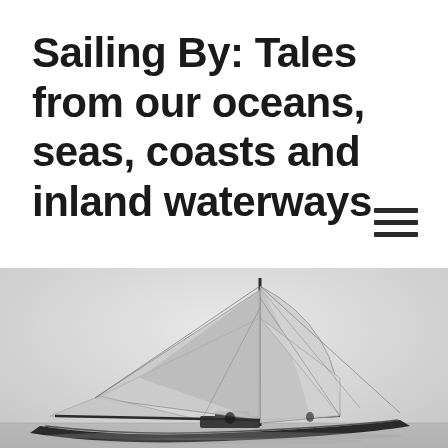Sailing By: Tales from our oceans, seas, coasts and inland waterways
[Figure (photo): Hamburger/menu icon with three horizontal lines]
[Figure (photo): Black and white historical photograph of a two-masted sailing vessel (ketch or yawl) with sails raised, on calm water]